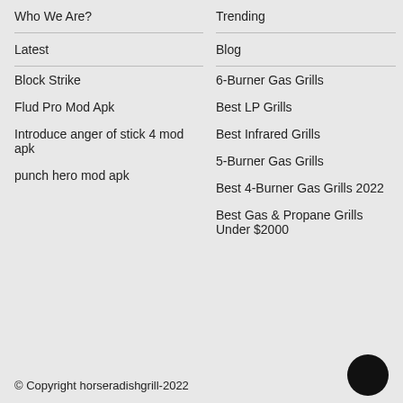Who We Are?
Trending
Latest
Blog
Block Strike
6-Burner Gas Grills
Flud Pro Mod Apk
Best LP Grills
Introduce anger of stick 4 mod apk
Best Infrared Grills
punch hero mod apk
5-Burner Gas Grills
Best 4-Burner Gas Grills 2022
Best Gas & Propane Grills Under $2000
© Copyright horseradishgrill-2022